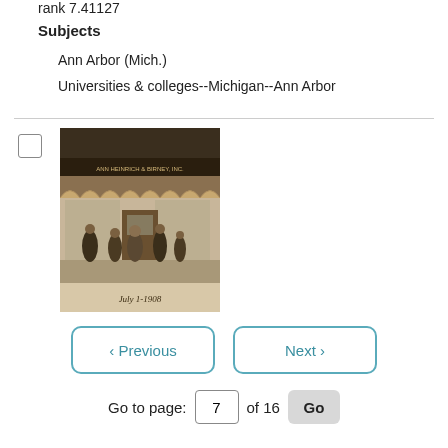rank 7.41127
Subjects
Ann Arbor (Mich.)
Universities & colleges--Michigan--Ann Arbor
[Figure (photo): Sepia-toned historic photograph of a storefront (Heinrich & Brewery) with people standing in front, dated July 1-1908]
< Previous   Next >
Go to page: 7 of 16  Go